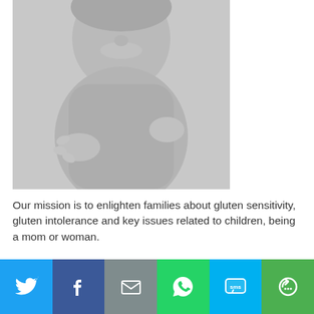[Figure (photo): Black and white photo of a smiling young child, cropped to show face and upper body with hands visible]
Our mission is to enlighten families about gluten sensitivity, gluten intolerance and key issues related to children, being a mom or woman.
[Figure (infographic): Social sharing bar with six buttons: Twitter (light blue), Facebook (dark blue), Email (gray), WhatsApp (green), SMS (cyan), More (green)]